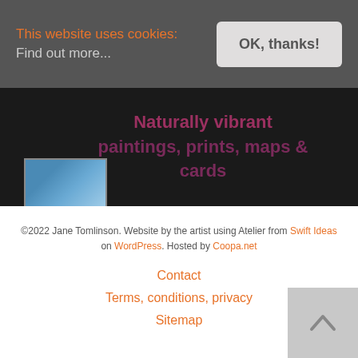This website uses cookies: Find out more...
OK, thanks!
Naturally vibrant paintings, prints, maps & cards
[Figure (photo): Small thumbnail image with blue tones in dark hero section]
©2022 Jane Tomlinson. Website by the artist using Atelier from Swift Ideas on WordPress. Hosted by Coopa.net
Contact
Terms, conditions, privacy
Sitemap